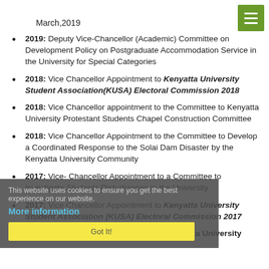March,2019
2019: Deputy Vice-Chancellor (Academic) Committee on Development Policy on Postgraduate Accommodation Service in the University for Special Categories
2018: Vice Chancellor Appointment to Kenyatta University Student Association(KUSA) Electoral Commission 2018
2018: Vice Chancellor appointment to the Committee to Kenyatta University Protestant Students Chapel Construction Committee
2018: Vice Chancellor Appointment to the Committee to Develop a Coordinated Response to the Solai Dam Disaster by the Kenyatta University Community
2017: Vice- Chancellor Appointment to a Committee to Investigate Students Disturbances in the University
2017: Vice Chancellor Appointment to Kenyatta University Student Association (KUSA) Electoral Commission 2017
2017: Vice- Chancellor appointment to Kenyatta University